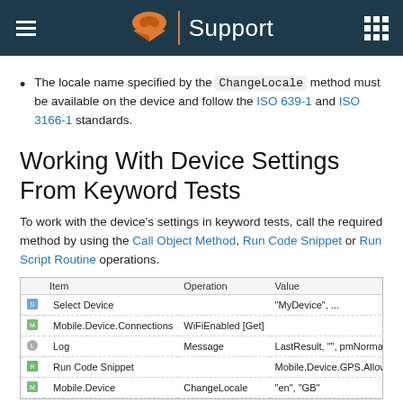Support
The locale name specified by the ChangeLocale method must be available on the device and follow the ISO 639-1 and ISO 3166-1 standards.
Working With Device Settings From Keyword Tests
To work with the device's settings in keyword tests, call the required method by using the Call Object Method, Run Code Snippet or Run Script Routine operations.
[Figure (screenshot): Screenshot of a keyword test editor table with columns: Item, Operation, Value. Rows include: Select Device (Value: "MyDevice", ...), Mobile.Device.Connections with WiFiEnabled [Get], Log with Message (LastResult, "", pmNormal, undefined, undefi...), Run Code Snippet (Mobile.Device.GPS.AllowMockLocations = true;), Mobile.Device with ChangeLocale ("en", "GB")]